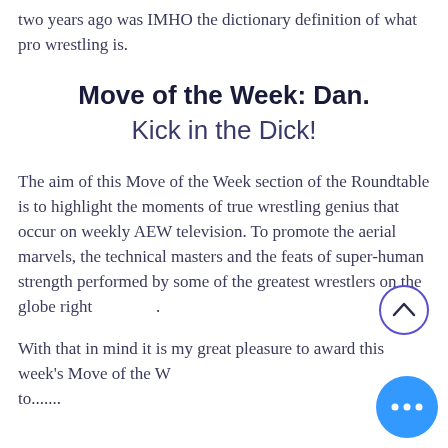two years ago was IMHO the dictionary definition of what pro wrestling is.
Move of the Week: Dan. Kick in the Dick!
The aim of this Move of the Week section of the Roundtable is to highlight the moments of true wrestling genius that occur on weekly AEW television. To promote the aerial marvels, the technical masters and the feats of super-human strength performed by some of the greatest wrestlers on the globe right now.
With that in mind it is my great pleasure to award this week's Move of the Week to.......